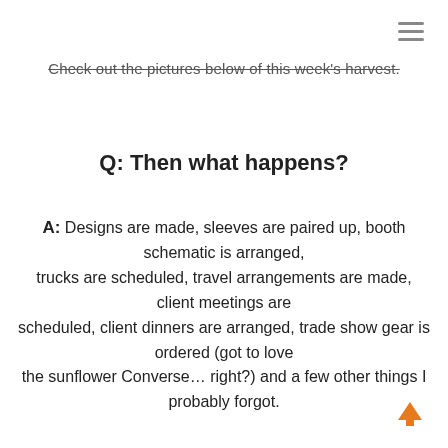≡
Check out the pictures below of this week's harvest.
Q: Then what happens?
A: Designs are made, sleeves are paired up, booth schematic is arranged, trucks are scheduled, travel arrangements are made, client meetings are scheduled, client dinners are arranged, trade show gear is ordered (got to love the sunflower Converse… right?) and a few other things I probably forgot.